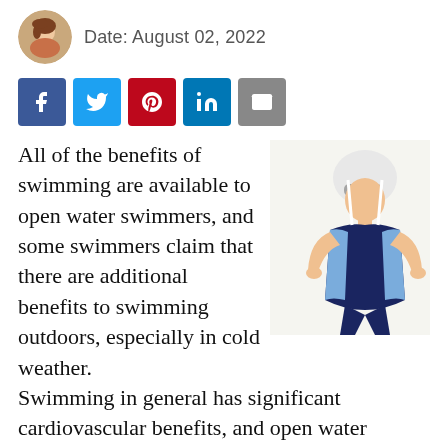Date: August 02, 2022
[Figure (other): Social sharing buttons: Facebook, Twitter, Pinterest, LinkedIn, Email]
All of the benefits of swimming are available to open water swimmers, and some swimmers claim that there are additional benefits to swimming outdoors, especially in cold weather. Swimming in general has significant cardiovascular benefits, and open water swimming often adds different levels of resistance and intensity...
[Figure (photo): Woman in a navy and light blue swimsuit with goggles and swim cap, standing with hands on hips]